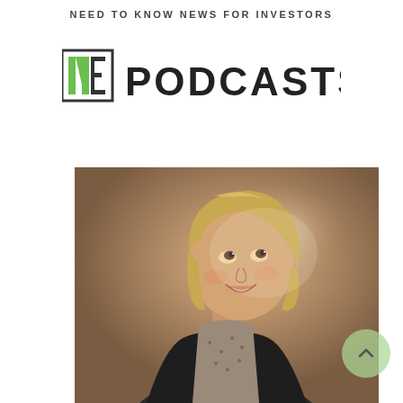NEED TO KNOW NEWS FOR INVESTORS
[Figure (logo): INE Podcasts logo with green and white N-E letterform and bold PODCASTS text]
[Figure (photo): Portrait photo of a smiling middle-aged blonde woman looking upward to the right, wearing a dark cardigan over a patterned top, against a warm brownish background with light glow]